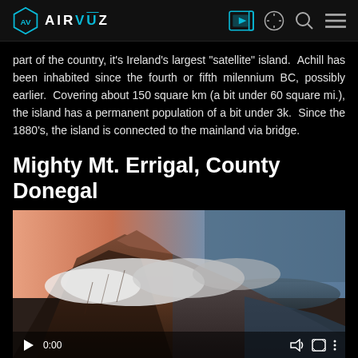AIRVŪZ navigation bar with logo and icons
part of the country, it's Ireland's largest "satellite" island.  Achill has been inhabited since the fourth or fifth milennium BC, possibly earlier.  Covering about 150 square km (a bit under 60 square mi.), the island has a permanent population of a bit under 3k.  Since the 1880's, the island is connected to the mainland via bridge.
Mighty Mt. Errigal, County Donegal
[Figure (screenshot): Video thumbnail showing aerial drone footage of Mt. Errigal in County Donegal, Ireland. The mountain peak is rocky with clouds swirling around it. The image has video player controls at the bottom showing play button and 0:00 timestamp.]